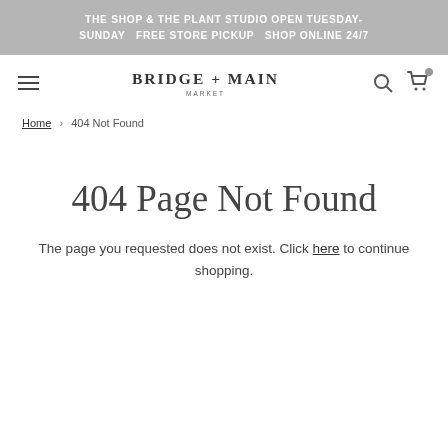THE SHOP & THE PLANT STUDIO OPEN TUESDAY-SUNDAY  FREE STORE PICKUP  SHOP ONLINE 24/7
[Figure (logo): Bridge + Main Market logo with hamburger menu, search icon, and cart icon navigation bar]
Home › 404 Not Found
404 Page Not Found
The page you requested does not exist. Click here to continue shopping.